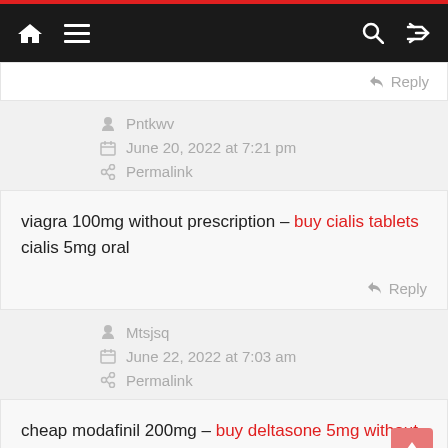Navigation bar with home, menu, search, shuffle icons
Reply
Pntkwv
June 20, 2022 at 7:21 pm
Permalink
viagra 100mg without prescription – buy cialis tablets cialis 5mg oral
Reply
Mtsjsq
June 22, 2022 at 7:03 am
Permalink
cheap modafinil 200mg – buy deltasone 5mg without prescription order budesonide without